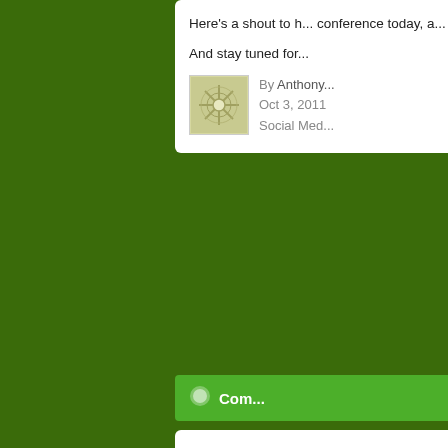Here's a shout to h... conference today, a...
And stay tuned for...
By Anthony
Oct 3, 2011
Social Med...
Com...
20 Though...
...I've actually had ... the most often as f...
1. If you don't have ... sure people can re... employees or clien... means. Remembe... was necessary.
2. Hope is not a st...